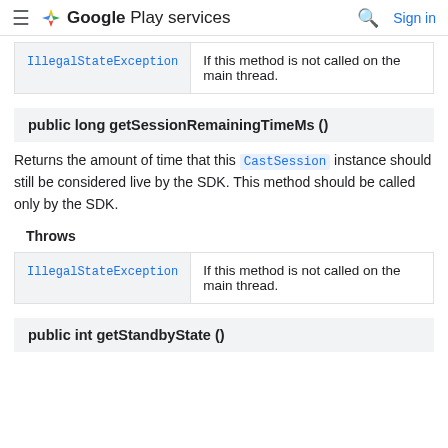Google Play services — Sign in
|  |  |
| --- | --- |
| IllegalStateException | If this method is not called on the main thread. |
public long getSessionRemainingTimeMs ()
Returns the amount of time that this CastSession instance should still be considered live by the SDK. This method should be called only by the SDK.
Throws
|  |  |
| --- | --- |
| IllegalStateException | If this method is not called on the main thread. |
public int getStandbyState ()